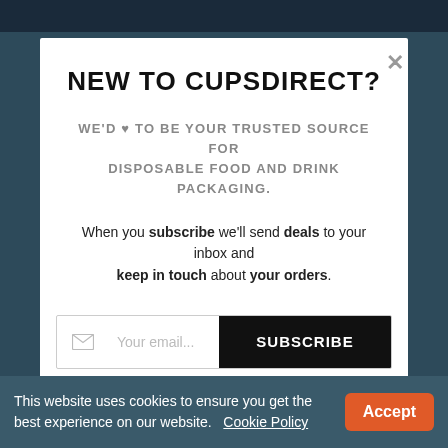NEW TO CUPSDIRECT?
WE'D ♥ TO BE YOUR TRUSTED SOURCE FOR DISPOSABLE FOOD AND DRINK PACKAGING.
When you subscribe we'll send deals to your inbox and keep in touch about your orders.
Your email...   SUBSCRIBE
This website uses cookies to ensure you get the best experience on our website.   Cookie Policy   Accept